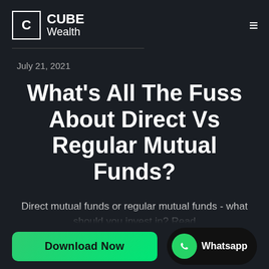CUBE Wealth
July 21, 2021
What's All The Fuss About Direct Vs Regular Mutual Funds?
Direct mutual funds or regular mutual funds - what should you invest in? Read this blog to find out the key factors that...